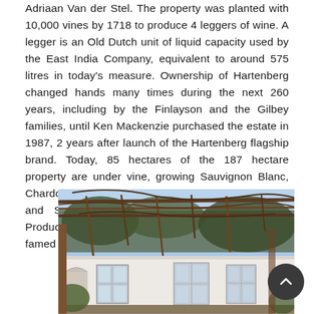Adriaan Van der Stel. The property was planted with 10,000 vines by 1718 to produce 4 leggers of wine. A legger is an Old Dutch unit of liquid capacity used by the East India Company, equivalent to around 575 litres in today's measure. Ownership of Hartenberg changed hands many times during the next 260 years, including by the Finlayson and the Gilbey families, until Ken Mackenzie purchased the estate in 1987, 2 years after launch of the Hartenberg flagship brand. Today, 85 hectares of the 187 hectare property are under vine, growing Sauvignon Blanc, Chardonnay, Riesling, Cabernet Sauvignon, Merlot and Shiraz from which the wines are made. Production is mostly red (80%) with Hartenberg famed for its Shiraz.
[Figure (photo): Exterior photo of a white building with a pergola/trellis structure overhead with bare vines, and windows visible on the building facade.]